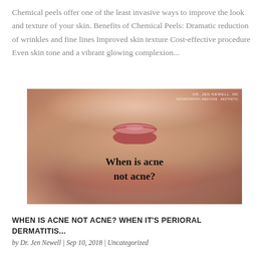Chemical peels offer one of the least invasive ways to improve the look and texture of your skin. Benefits of Chemical Peels: Dramatic reduction of wrinkles and fine lines Improved skin texture Cost-effective procedure Even skin tone and a vibrant glowing complexion...
[Figure (photo): Close-up photograph of a person's lower face showing skin with acne/redness around the chin and mouth area. Text overlay reads 'When is acne not acne?' Watermark in top right: DR. JEN NEWELL, ND]
WHEN IS ACNE NOT ACNE? WHEN IT'S PERIORAL DERMATITIS...
by Dr. Jen Newell | Sep 10, 2018 | Uncategorized